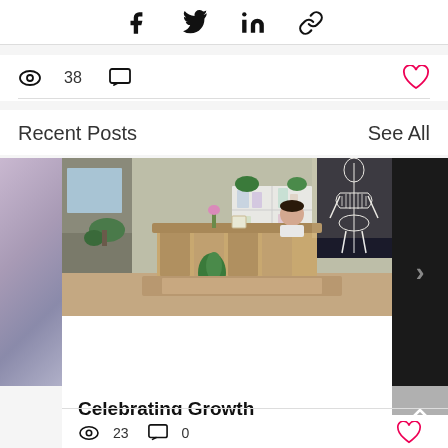[Figure (infographic): Social share icons: Facebook, Twitter, LinkedIn, Link]
38 views, 0 comments, heart/like button
Recent Posts
See All
[Figure (photo): Reception area of a wellness/chiropractic office with plants, a white bookshelf, wooden reception desk, and a skeleton anatomy poster on the wall. A smiling person stands behind the desk.]
Celebrating Growth
23 views, 0 comments, heart/like button